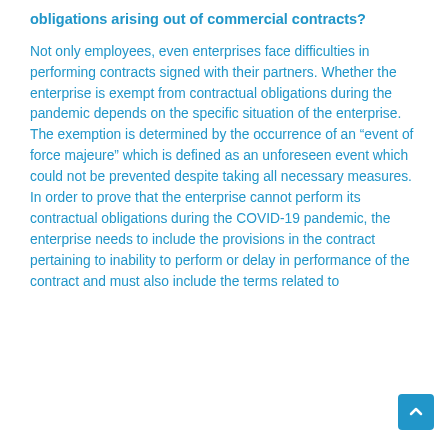obligations arising out of commercial contracts?
Not only employees, even enterprises face difficulties in performing contracts signed with their partners. Whether the enterprise is exempt from contractual obligations during the pandemic depends on the specific situation of the enterprise. The exemption is determined by the occurrence of an “event of force majeure” which is defined as an unforeseen event which could not be prevented despite taking all necessary measures. In order to prove that the enterprise cannot perform its contractual obligations during the COVID-19 pandemic, the enterprise needs to include the provisions in the contract pertaining to inability to perform or delay in performance of the contract and must also include the terms related to